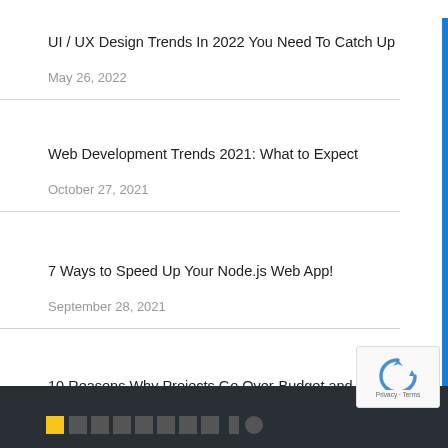UI / UX Design Trends In 2022 You Need To Catch Up
May 26, 2022
Web Development Trends 2021: What to Expect
October 27, 2021
7 Ways to Speed Up Your Node.js Web App!
September 28, 2021
10 Reasons Why Projects Go Over-Budget and How to Avoid Them?
August 8, 2021